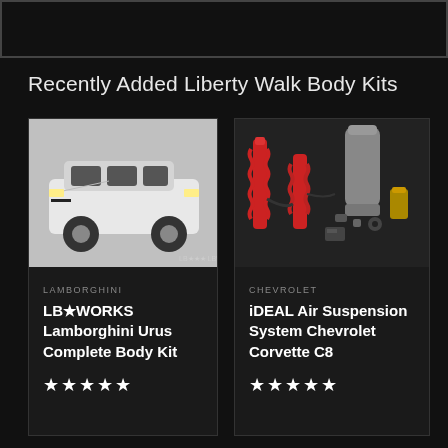[Figure (other): Top banner/header area with dark background and border]
Recently Added Liberty Walk Body Kits
[Figure (photo): Product card: Lamborghini Urus white SUV model car with LB Works body kit]
LAMBORGHINI
LB★WORKS Lamborghini Urus Complete Body Kit
★★★★★
[Figure (photo): Product card: iDEAL Air Suspension System components laid out, red coilovers]
CHEVROLET
iDEAL Air Suspension System Chevrolet Corvette C8
★★★★★